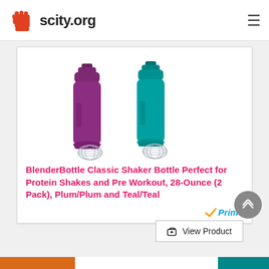scity.org
[Figure (photo): Two BlenderBottle Classic shaker bottles – one plum/purple and one teal – each with a wire whisk ball shown beside them]
BlenderBottle Classic Shaker Bottle Perfect for Protein Shakes and Pre Workout, 28-Ounce (2 Pack), Plum/Plum and Teal/Teal
[Figure (logo): Amazon Prime badge with orange checkmark and blue italic Prime text]
View Product